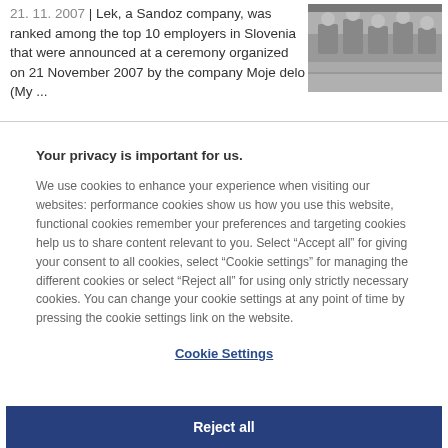21. 11. 2007 | Lek, a Sandoz company, was ranked among the top 10 employers in Slovenia that were announced at a ceremony organized on 21 November 2007 by the company Moje delo (My ...
[Figure (photo): Black and white photo showing people working at a table or workstation]
Your privacy is important for us.
We use cookies to enhance your experience when visiting our websites: performance cookies show us how you use this website, functional cookies remember your preferences and targeting cookies help us to share content relevant to you. Select “Accept all” for giving your consent to all cookies, select “Cookie settings” for managing the different cookies or select “Reject all” for using only strictly necessary cookies. You can change your cookie settings at any point of time by pressing the cookie settings link on the website.
Cookie Settings
Reject all